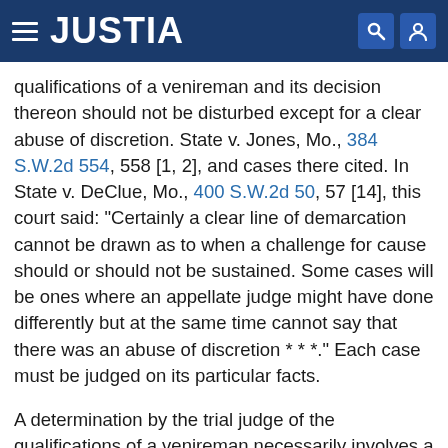JUSTIA
qualifications of a venireman and its decision thereon should not be disturbed except for a clear abuse of discretion. State v. Jones, Mo., 384 S.W.2d 554, 558 [1, 2], and cases there cited. In State v. DeClue, Mo., 400 S.W.2d 50, 57 [14], this court said: "Certainly a clear line of demarcation cannot be drawn as to when a challenge for cause should or should not be sustained. Some cases will be ones where an appellate judge might have done differently but at the same time cannot say that there was an abuse of discretion * * *." Each case must be judged on its particular facts.
A determination by the trial judge of the qualifications of a venireman necessarily involves a judgment based on an observation of the demeanor of the venireman and, in the light of that observation, an evaluation and interpretation of his answers as they relate to whether